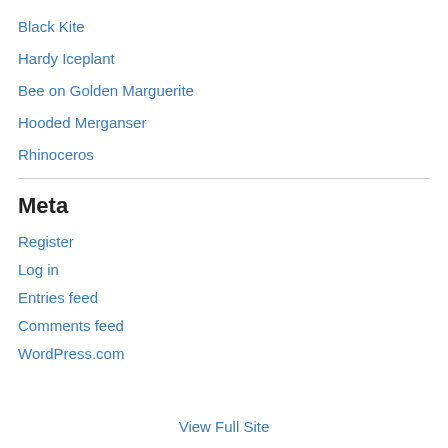Black Kite
Hardy Iceplant
Bee on Golden Marguerite
Hooded Merganser
Rhinoceros
Meta
Register
Log in
Entries feed
Comments feed
WordPress.com
View Full Site